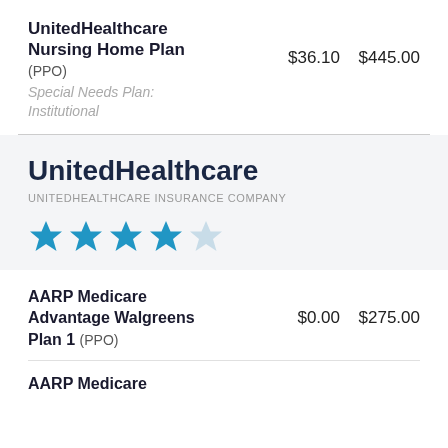UnitedHealthcare Nursing Home Plan (PPO) $36.10 $445.00 Special Needs Plan: Institutional
UnitedHealthcare
UNITEDHEALTHCARE INSURANCE COMPANY
4 out of 5 stars
AARP Medicare Advantage Walgreens Plan 1 (PPO) $0.00 $275.00
AARP Medicare